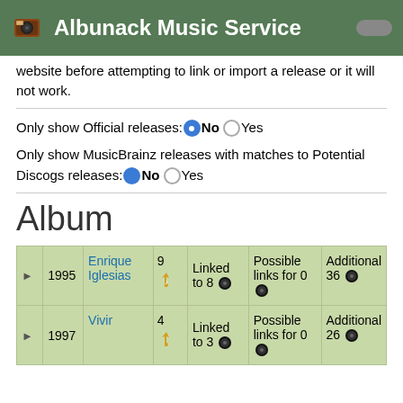Albunack Music Service
website before attempting to link or import a release or it will not work.
Only show Official releases: No Yes
Only show MusicBrainz releases with matches to Potential Discogs releases: No Yes
Album
|  | Year | Artist | Count | Linked | Possible links | Additional |
| --- | --- | --- | --- | --- | --- | --- |
| ▶ | 1995 | Enrique Iglesias | 9 | Linked to 8 | Possible links for 0 | Additional 36 |
| ▶ | 1997 | Vivir | 4 | Linked to 3 | Possible links for 0 | Additional 26 |